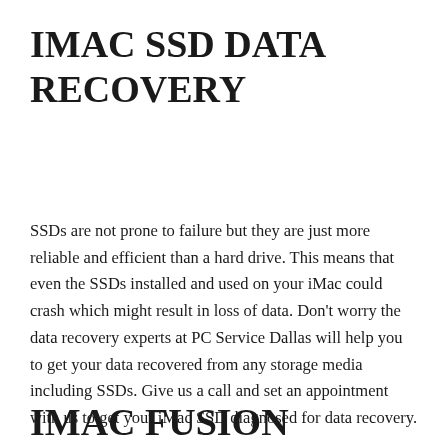IMAC SSD DATA RECOVERY
SSDs are not prone to failure but they are just more reliable and efficient than a hard drive. This means that even the SSDs installed and used on your iMac could crash which might result in loss of data. Don't worry the data recovery experts at PC Service Dallas will help you to get your data recovered from any storage media including SSDs. Give us a call and set an appointment with us to get your iMac SSD diagnosed for data recovery.
IMAC FUSION DRIVE